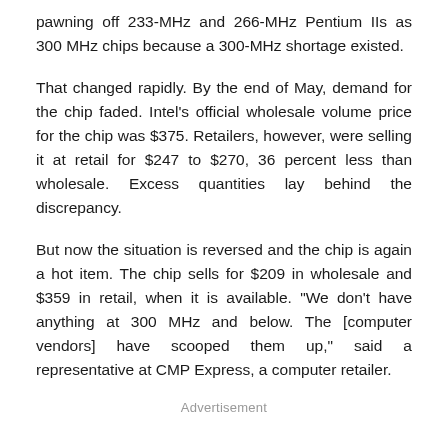pawning off 233-MHz and 266-MHz Pentium IIs as 300 MHz chips because a 300-MHz shortage existed.
That changed rapidly. By the end of May, demand for the chip faded. Intel's official wholesale volume price for the chip was $375. Retailers, however, were selling it at retail for $247 to $270, 36 percent less than wholesale. Excess quantities lay behind the discrepancy.
But now the situation is reversed and the chip is again a hot item. The chip sells for $209 in wholesale and $359 in retail, when it is available. "We don't have anything at 300 MHz and below. The [computer vendors] have scooped them up," said a representative at CMP Express, a computer retailer.
Advertisement